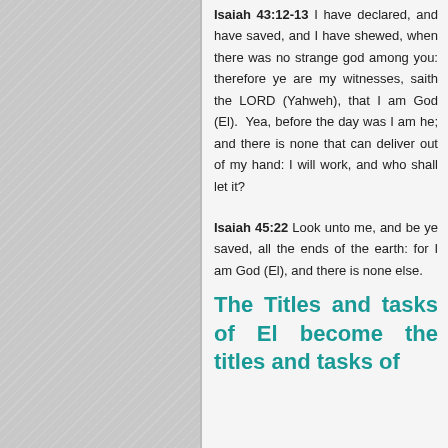Isaiah 43:12-13 I have declared, and have saved, and I have shewed, when there was no strange god among you: therefore ye are my witnesses, saith the LORD (Yahweh), that I am God (El). Yea, before the day was I am he; and there is none that can deliver out of my hand: I will work, and who shall let it?
Isaiah 45:22 Look unto me, and be ye saved, all the ends of the earth: for I am God (El), and there is none else.
The Titles and tasks of El become the titles and tasks of